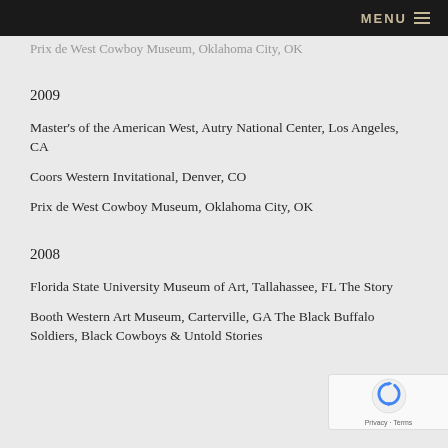MENU
Prix de West Cowboy Museum, Oklahoma City, OK
2009
Master's of the American West, Autry National Center, Los Angeles, CA
Coors Western Invitational, Denver, CO
Prix de West Cowboy Museum, Oklahoma City, OK
2008
Florida State University Museum of Art, Tallahassee, FL The Story
Booth Western Art Museum, Carterville, GA The Black Buffalo Soldiers, Black Cowboys & Untold Stories